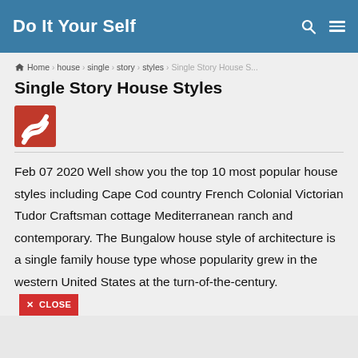Do It Your Self
Home › house › single › story › styles › Single Story House S...
Single Story House Styles
[Figure (logo): Red logo with stylized double-S wave shape on dark red background square]
Feb 07 2020 Well show you the top 10 most popular house styles including Cape Cod country French Colonial Victorian Tudor Craftsman cottage Mediterranean ranch and contemporary. The Bungalow house style of architecture is a single family house type whose popularity grew in the western United States at the turn-of-the-century.